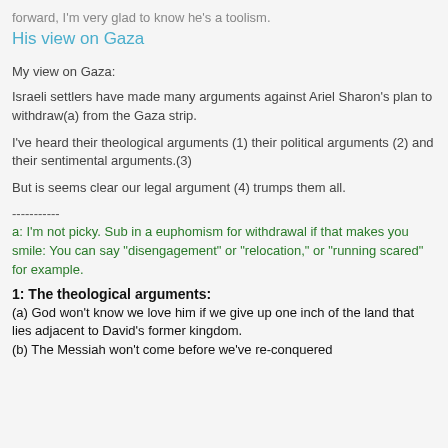forward, I'm very glad to know he's a toolism.
His view on Gaza
My view on Gaza:
Israeli settlers have made many arguments against Ariel Sharon's plan to withdraw(a) from the Gaza strip.
I've heard their theological arguments (1) their political arguments (2) and their sentimental arguments.(3)
But is seems clear our legal argument (4) trumps them all.
-----------
a: I'm not picky. Sub in a euphomism for withdrawal if that makes you smile: You can say "disengagement" or "relocation," or "running scared" for example.
1: The theological arguments:
(a) God won't know we love him if we give up one inch of the land that lies adjacent to David's former kingdom.
(b) The Messiah won't come before we've re-conquered